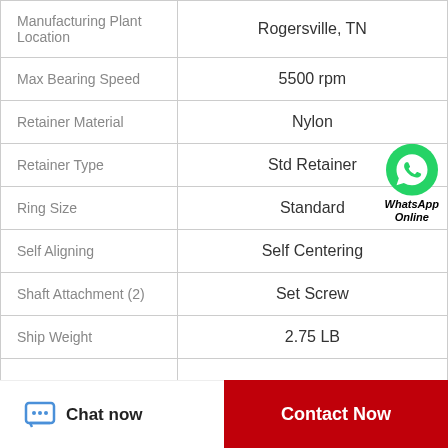| Property | Value |
| --- | --- |
| Manufacturing Plant Location | Rogersville, TN |
| Max Bearing Speed | 5500 rpm |
| Retainer Material | Nylon |
| Retainer Type | Std Retainer |
| Ring Size | Standard |
| Self Aligning | Self Centering |
| Shaft Attachment (2) | Set Screw |
| Ship Weight | 2.75 LB |
| UPC |  |